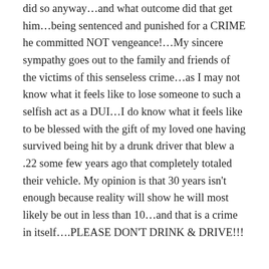did so anyway…and what outcome did that get him…being sentenced and punished for a CRIME he committed NOT vengeance!…My sincere sympathy goes out to the family and friends of the victims of this senseless crime…as I may not know what it feels like to lose someone to such a selfish act as a DUI…I do know what it feels like to be blessed with the gift of my loved one having survived being hit by a drunk driver that blew a .22 some few years ago that completely totaled their vehicle. My opinion is that 30 years isn't enough because reality will show he will most likely be out in less than 10…and that is a crime in itself….PLEASE DON'T DRINK & DRIVE!!!